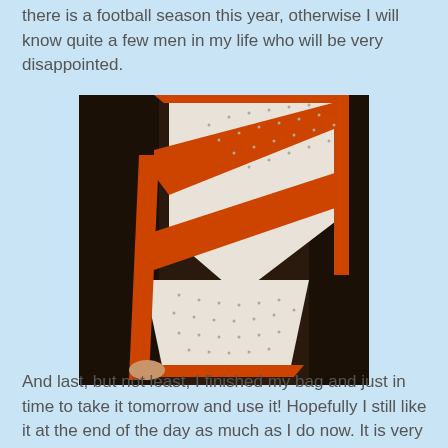there is a football season this year, otherwise I will know quite a few men in my life who will be very disappointed.
[Figure (photo): A knitted bag with orange and white diagonal stripe pattern, photographed against a dark wooden background.]
And last, but not least, I finished my bag and just in time to take it tomorrow and use it!  Hopefully I still like it at the end of the day as much as I do now.  It is very lightweight which